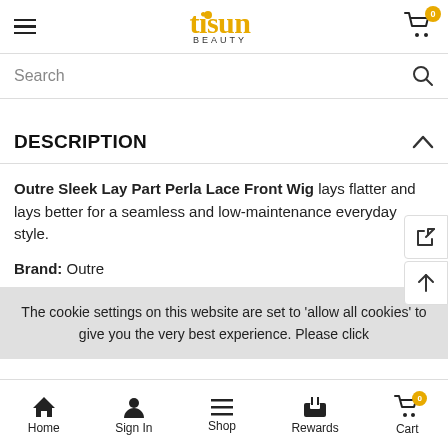tisun BEAUTY — cart 0
Search
DESCRIPTION
Outre Sleek Lay Part Perla Lace Front Wig lays flatter and lays better for a seamless and low-maintenance everyday style.
Brand: Outre
The cookie settings on this website are set to 'allow all cookies' to give you the very best experience. Please click
Home  Sign In  Shop  Rewards  Cart 0